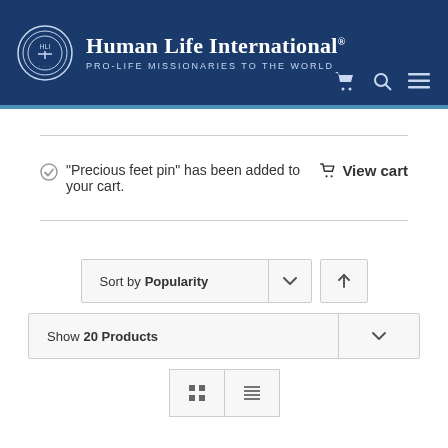Human Life International® PRO-LIFE MISSIONARIES TO THE WORLD
“Precious feet pin” has been added to your cart.
Sort by Popularity
Show 20 Products